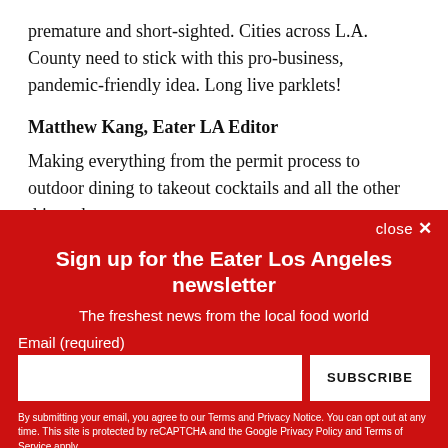premature and short-sighted. Cities across L.A. County need to stick with this pro-business, pandemic-friendly idea. Long live parklets!
Matthew Kang, Eater LA Editor
Making everything from the permit process to outdoor dining to takeout cocktails and all the other things that
Sign up for the Eater Los Angeles newsletter
The freshest news from the local food world
Email (required)
SUBSCRIBE
By submitting your email, you agree to our Terms and Privacy Notice. You can opt out at any time. This site is protected by reCAPTCHA and the Google Privacy Policy and Terms of Service apply.